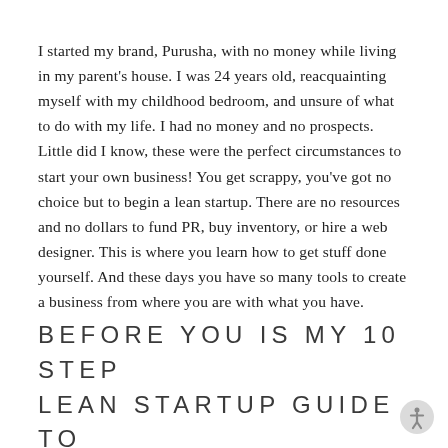I started my brand, Purusha, with no money while living in my parent's house. I was 24 years old, reacquainting myself with my childhood bedroom, and unsure of what to do with my life. I had no money and no prospects. Little did I know, these were the perfect circumstances to start your own business! You get scrappy, you've got no choice but to begin a lean startup. There are no resources and no dollars to fund PR, buy inventory, or hire a web designer. This is where you learn how to get stuff done yourself. And these days you have so many tools to create a business from where you are with what you have.
BEFORE YOU IS MY 10 STEP LEAN STARTUP GUIDE TO CREATING A CLOTHING BRAND: